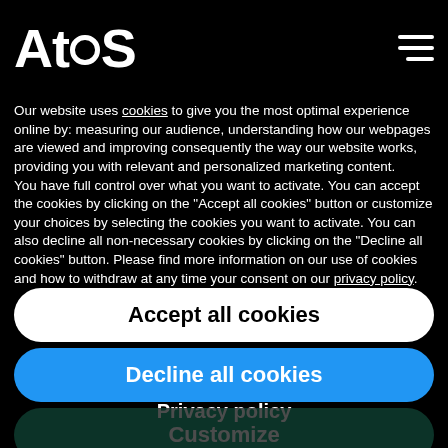Atos
Our website uses cookies to give you the most optimal experience online by: measuring our audience, understanding how our webpages are viewed and improving consequently the way our website works, providing you with relevant and personalized marketing content. You have full control over what you want to activate. You can accept the cookies by clicking on the "Accept all cookies" button or customize your choices by selecting the cookies you want to activate. You can also decline all non-necessary cookies by clicking on the "Decline all cookies" button. Please find more information on our use of cookies and how to withdraw at any time your consent on our privacy policy.
Accept all cookies
Decline all cookies
Customize
Privacy policy